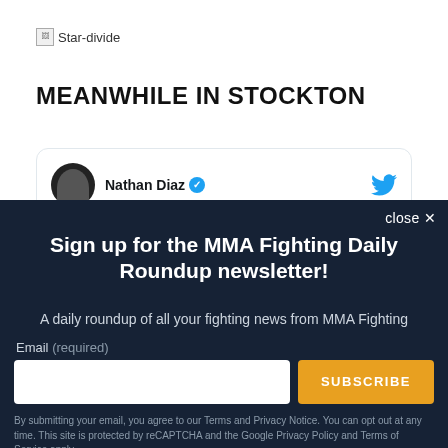[Figure (other): Star-divide image placeholder with alt text 'Star-divide']
MEANWHILE IN STOCKTON
[Figure (screenshot): Tweet card showing Nathan Diaz verified Twitter account with Twitter bird logo icon]
close ×
Sign up for the MMA Fighting Daily Roundup newsletter!
A daily roundup of all your fighting news from MMA Fighting
Email (required)
SUBSCRIBE
By submitting your email, you agree to our Terms and Privacy Notice. You can opt out at any time. This site is protected by reCAPTCHA and the Google Privacy Policy and Terms of Service apply.